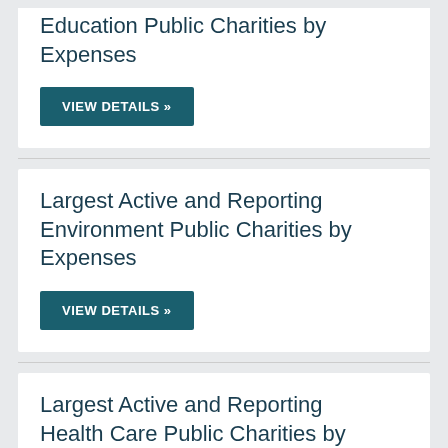Education Public Charities by Expenses
VIEW DETAILS »
Largest Active and Reporting Environment Public Charities by Expenses
VIEW DETAILS »
Largest Active and Reporting Health Care Public Charities by Expenses